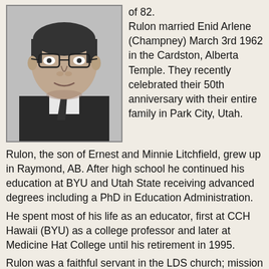[Figure (photo): Black and white portrait photo of a man wearing glasses, a suit and tie]
of 82.
Rulon married Enid Arlene (Champney) March 3rd 1962 in the Cardston, Alberta Temple. They recently celebrated their 50th anniversary with their entire family in Park City, Utah.
Rulon, the son of Ernest and Minnie Litchfield, grew up in Raymond, AB. After high school he continued his education at BYU and Utah State receiving advanced degrees including a PhD in Education Administration.
He spent most of his life as an educator, first at CCH Hawaii (BYU) as a college professor and later at Medicine Hat College until his retirement in 1995.
Rulon was a faithful servant in the LDS church; mission to England, Stake missionary in Calgary, Branch President and Bishop in Pincher Creek, High Councilman in the Taber Stake, Bishop's counselor and Bishop in Medicine Hat, and Ward Employment Specialist. He and his wife later served a mission